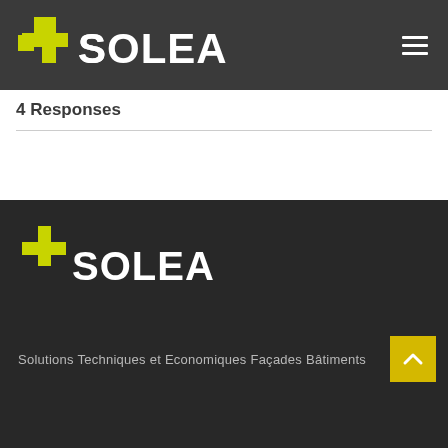SOLEA logo and navigation header
4 Responses
[Figure (logo): SOLEA logo in footer with yellow cross/plus icon and white text]
Solutions Techniques et Economiques Façades Bâtiments